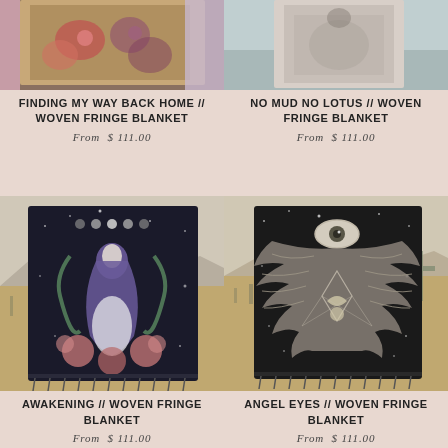[Figure (photo): Woven fringe blanket with floral design displayed against a colorful background, partially cropped at top]
FINDING MY WAY BACK HOME // WOVEN FRINGE BLANKET
From  $ 111.00
[Figure (photo): Woven fringe blanket displayed against a light background, partially cropped at top]
NO MUD NO LOTUS // WOVEN FRINGE BLANKET
From  $ 111.00
[Figure (photo): Black woven fringe blanket with mystical goddess figure, snakes, roses and stars design, displayed outdoors in desert setting]
AWAKENING // WOVEN FRINGE BLANKET
From  $ 111.00
[Figure (photo): Black woven fringe blanket with angel wings, eye, and celestial geometric design, displayed outdoors in desert setting]
ANGEL EYES // WOVEN FRINGE BLANKET
From  $ 111.00